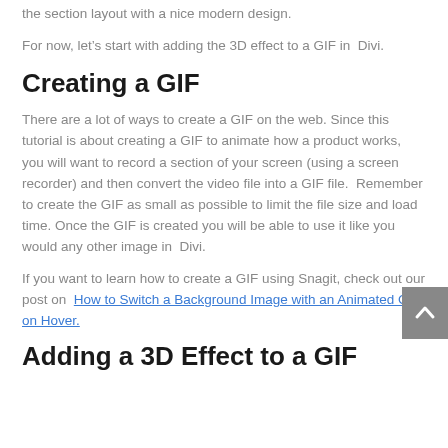the section layout with a nice modern design.
For now, let’s start with adding the 3D effect to a GIF in Divi.
Creating a GIF
There are a lot of ways to create a GIF on the web. Since this tutorial is about creating a GIF to animate how a product works, you will want to record a section of your screen (using a screen recorder) and then convert the video file into a GIF file. Remember to create the GIF as small as possible to limit the file size and load time. Once the GIF is created you will be able to use it like you would any other image in Divi.
If you want to learn how to create a GIF using Snagit, check out our post on How to Switch a Background Image with an Animated Gif on Hover.
Adding a 3D Effect to a GIF